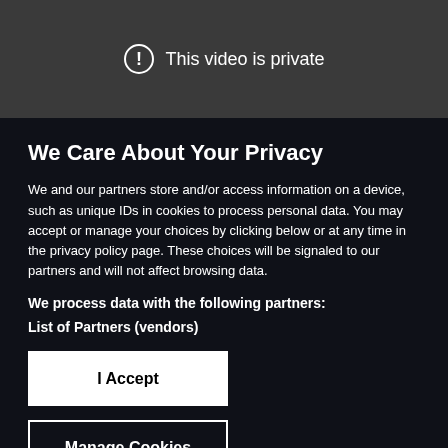[Figure (screenshot): Dark grey banner showing a circle with exclamation mark icon and the text 'This video is private' in white]
We Care About Your Privacy
We and our partners store and/or access information on a device, such as unique IDs in cookies to process personal data. You may accept or manage your choices by clicking below or at any time in the privacy policy page. These choices will be signaled to our partners and will not affect browsing data.
We process data with the following partners:
List of Partners (vendors)
I Accept
Manage Cookies